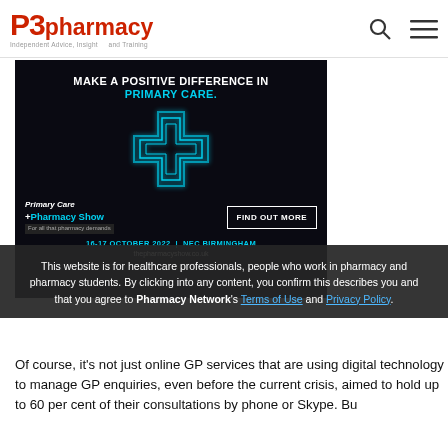P3pharmacy
[Figure (photo): Primary Care Pharmacy Show advertisement: dark background with cyan neon cross graphic, text 'MAKE A POSITIVE DIFFERENCE IN PRIMARY CARE.' with 'FIND OUT MORE' button, '16-17 OCTOBER 2022 | NEC BIRMINGHAM' and 'thepharmacyshow.co.uk']
This website is for healthcare professionals, people who work in pharmacy and pharmacy students. By clicking into any content, you confirm this describes you and that you agree to Pharmacy Network's Terms of Use and Privacy Policy.
Of course, it's not just online GP services that are using digital technology to manage GP enquiries, even before the current crisis, aimed to hold up to 60 per cent of their consultations by phone or Skype. Bu